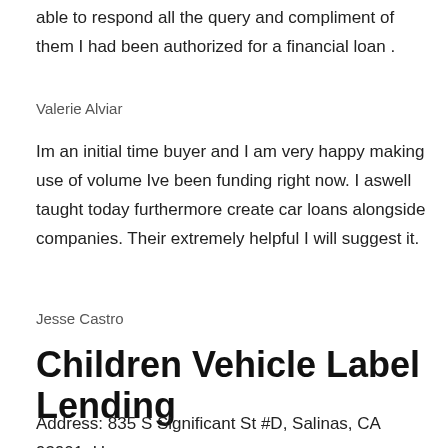able to respond all the query and compliment of them I had been authorized for a financial loan .
Valerie Alviar
Im an initial time buyer and I am very happy making use of volume Ive been funding right now. I aswell taught today furthermore create car loans alongside companies. Their extremely helpful I will suggest it.
Jesse Castro
Children Vehicle Label Lending
Address: 835 S Significant St #D, Salinas, CA 93901, Usa